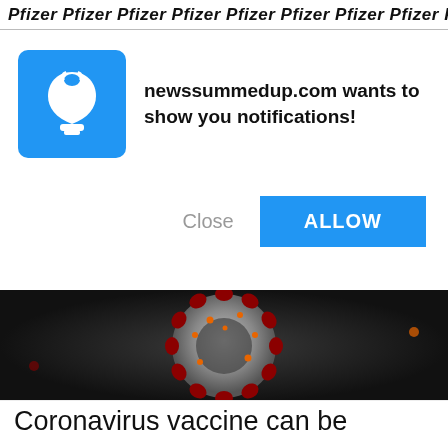Pfizer Pfizer Pfizer Pfizer Pfizer Pfizer Pfizer Pfizer Pfizer Pfizer Pfizer Pfizer Pfizer Pfizer Pfizer Pfizer Pfizer Pfizer Pfizer Pfizer Pfizer
newssummedup.com wants to show you notifications!
Close
ALLOW
[Figure (photo): Microscopic illustration of a coronavirus particle — spherical grey body with red spike proteins and orange/yellow smaller protrusions, on a dark background.]
Coronavirus vaccine can be